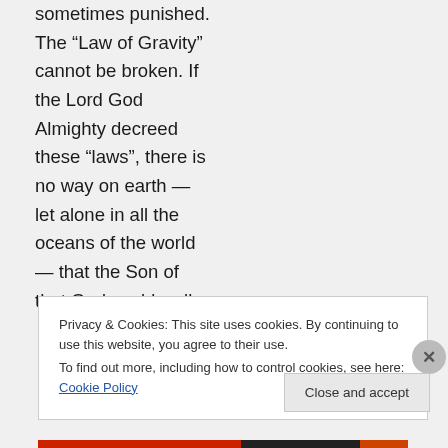sometimes punished. The “Law of Gravity” cannot be broken. If the Lord God Almighty decreed these “laws”, there is no way on earth — let alone in all the oceans of the world — that the Son of that God could walk
Privacy & Cookies: This site uses cookies. By continuing to use this website, you agree to their use.
To find out more, including how to control cookies, see here: Cookie Policy